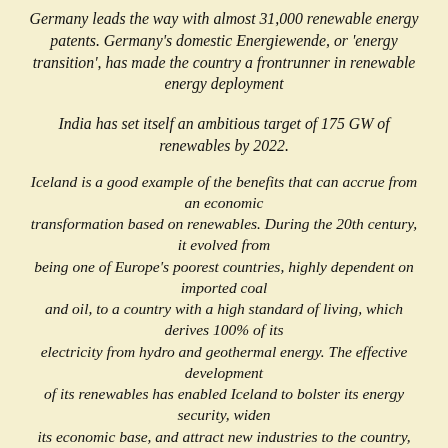Germany leads the way with almost 31,000 renewable energy patents. Germany's domestic Energiewende, or 'energy transition', has made the country a frontrunner in renewable energy deployment
India has set itself an ambitious target of 175 GW of renewables by 2022.
Iceland is a good example of the benefits that can accrue from an economic transformation based on renewables. During the 20th century, it evolved from being one of Europe's poorest countries, highly dependent on imported coal and oil, to a country with a high standard of living, which derives 100% of its electricity from hydro and geothermal energy. The effective development of its renewables has enabled Iceland to bolster its energy security, widen its economic base, and attract new industries to the country,